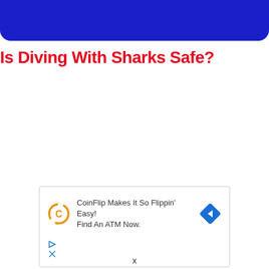[Figure (other): Dark blue rounded header banner bar at the top of the page]
Is Diving With Sharks Safe?
[Figure (other): Advertisement box: CoinFlip Makes It So Flippin' Easy! Find An ATM Now. With CoinFlip logo and blue diamond arrow icon.]
x